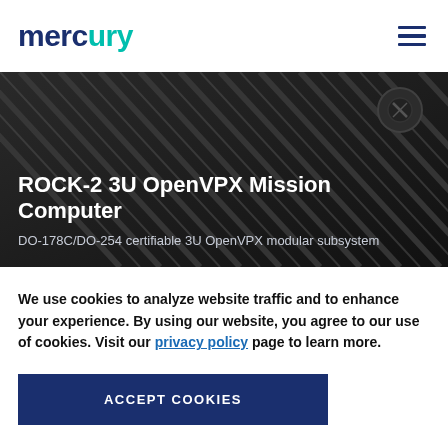mercury
[Figure (photo): Dark angled metal surface with diagonal ridges and hardware fasteners, serving as hero background image]
ROCK-2 3U OpenVPX Mission Computer
DO-178C/DO-254 certifiable 3U OpenVPX modular subsystem
We use cookies to analyze website traffic and to enhance your experience. By using our website, you agree to our use of cookies. Visit our privacy policy page to learn more.
ACCEPT COOKIES